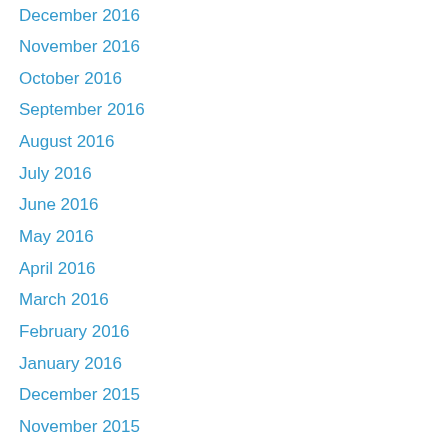December 2016
November 2016
October 2016
September 2016
August 2016
July 2016
June 2016
May 2016
April 2016
March 2016
February 2016
January 2016
December 2015
November 2015
October 2015
September 2015
August 2015
July 2015
June 2015
May 2015